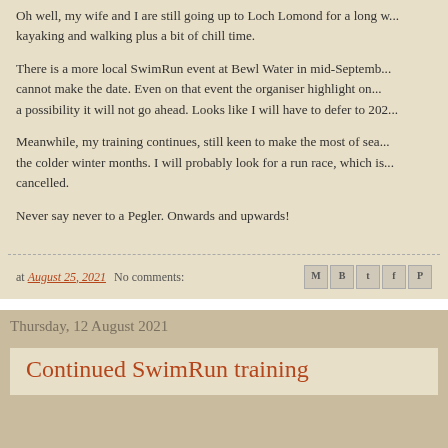Oh well, my wife and I are still going up to Loch Lomond for a long w... kayaking and walking plus a bit of chill time.
There is a more local SwimRun event at Bewl Water in mid-Septemb... cannot make the date. Even on that event the organiser highlight on... a possibility it will not go ahead. Looks like I will have to defer to 202...
Meanwhile, my training continues, still keen to make the most of sea... the colder winter months. I will probably look for a run race, which is... cancelled.
Never say never to a Pegler. Onwards and upwards!
at August 25, 2021   No comments:
Thursday, 12 August 2021
Continued SwimRun training